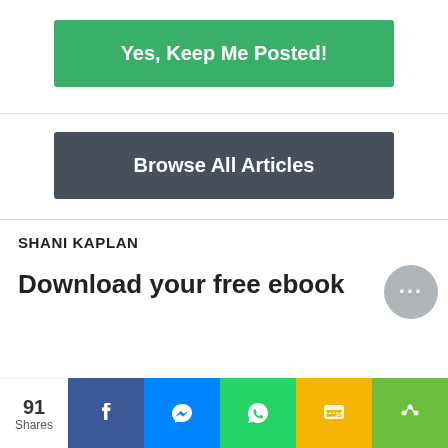[Figure (other): Green button labeled 'Yes, Keep Me Posted!']
[Figure (other): Dark gray button labeled 'Browse All Articles']
SHANI KAPLAN
Download your free ebook
[Figure (infographic): Social share bar with 91 Shares, Facebook, Messenger, WhatsApp, SMS, and more share buttons]